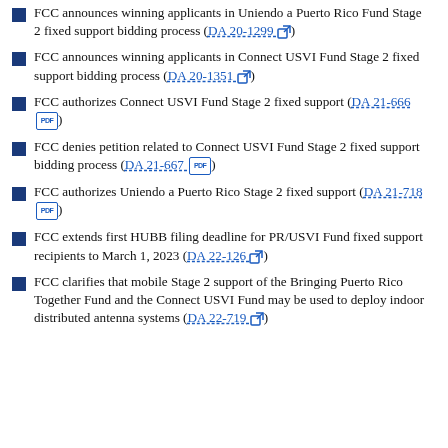FCC announces winning applicants in Uniendo a Puerto Rico Fund Stage 2 fixed support bidding process (DA 20-1299)
FCC announces winning applicants in Connect USVI Fund Stage 2 fixed support bidding process (DA 20-1351)
FCC authorizes Connect USVI Fund Stage 2 fixed support (DA 21-666)
FCC denies petition related to Connect USVI Fund Stage 2 fixed support bidding process (DA 21-667)
FCC authorizes Uniendo a Puerto Rico Stage 2 fixed support (DA 21-718)
FCC extends first HUBB filing deadline for PR/USVI Fund fixed support recipients to March 1, 2023 (DA 22-126)
FCC clarifies that mobile Stage 2 support of the Bringing Puerto Rico Together Fund and the Connect USVI Fund may be used to deploy indoor distributed antenna systems (DA 22-719)